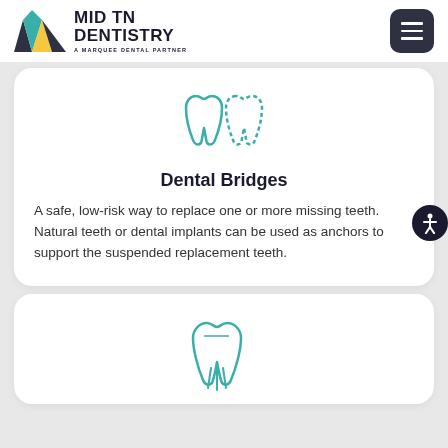MID TN DENTISTRY — A MARQUEE DENTAL PARTNER
[Figure (illustration): Teal outline icon of two teeth side by side (dental bridge icon)]
Dental Bridges
A safe, low-risk way to replace one or more missing teeth. Natural teeth or dental implants can be used as anchors to support the suspended replacement teeth.
[Figure (illustration): Teal outline icon of a single tooth with roots (dental crown/tooth icon), partially visible at bottom of page]